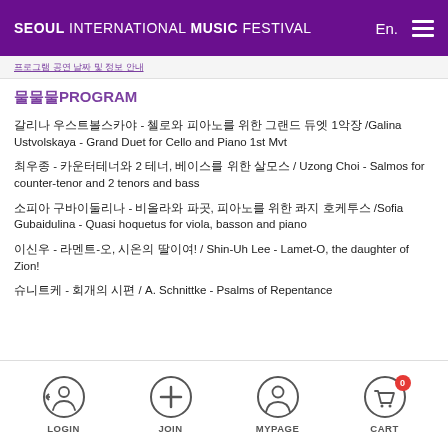SEOUL INTERNATIONAL MUSIC FESTIVAL   En.
PROGRAM
갈리나 우스트볼스카야 - 첼로와 피아노를 위한 그랜드 듀엣 1악장 /Galina Ustvolskaya - Grand Duet for Cello and Piano 1st Mvt
최우종 - 카운터테너와 2 테너, 베이스를 위한 살모스 / Uzong Choi - Salmos for counter-tenor and 2 tenors and bass
소피아 구바이둘리나 - 비올라와 파곳, 피아노를 위한 콰지 호케투스 /Sofia Gubaidulina - Quasi hoquetus for viola, basson and piano
이신우 - 라멘트-오, 시온의 딸이여! / Shin-Uh Lee - Lamet-O, the daughter of Zion!
슈니트케 - 회개의 시편 / A. Schnittke - Psalms of Repentance
LOGIN   JOIN   MYPAGE   CART 0